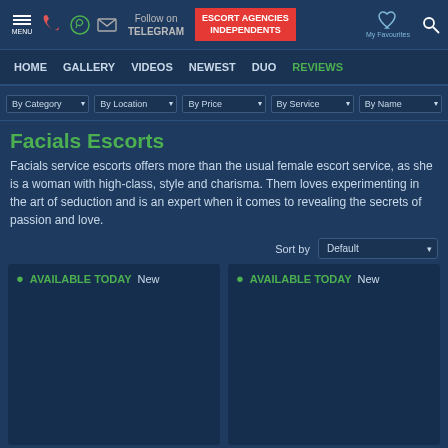MENU | Phone | WhatsApp | Mail | Follow on TELEGRAM | ESCORT AGENCIES INDEPENDENTS | My Favourites | Search
HOME | GALLERY | VIDEOS | NEWEST | DUO | REVIEWS
By Category | By Location | By Price | By Service | By Name
Facials Escorts
Facials service escorts offers more than the usual female escort service, as she is a woman with high-class, style and charisma. Them loves experimenting in the art of seduction and is an expert when it comes to revealing the secrets of passion and love.
Sort by: Default
● AVAILABLE TODAY   New
● AVAILABLE TODAY   New